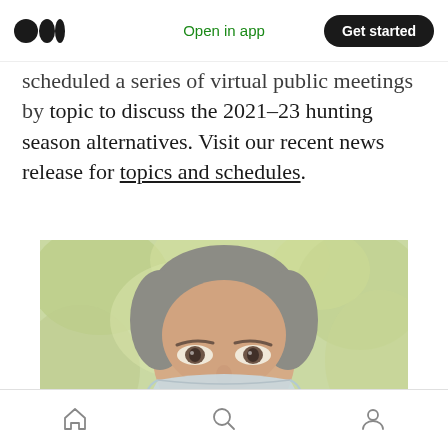Open in app | Get started
scheduled a series of virtual public meetings by topic to discuss the 2021–23 hunting season alternatives. Visit our recent news release for topics and schedules.
[Figure (photo): Close-up photo of a person wearing a light blue/white medical face mask outdoors, with blurred green foliage in the background. The person's face is partially visible above the mask.]
Home | Search | Profile navigation icons